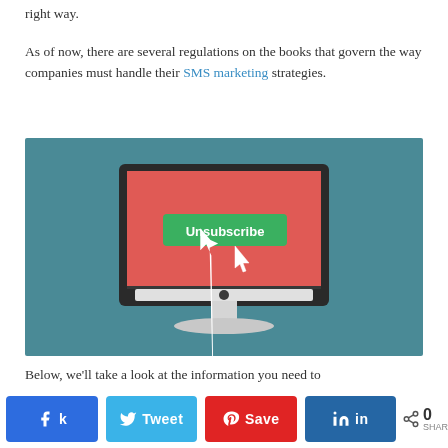right way.
As of now, there are several regulations on the books that govern the way companies must handle their SMS marketing strategies.
[Figure (illustration): A flat-design illustration of a desktop computer monitor with a red/coral screen displaying a green 'Unsubscribe' button with a white cursor arrow hovering over it, set against a teal/steel-blue background.]
Below, we'll take a look at the information you need to
Share buttons: Facebook, Twitter, Pinterest, LinkedIn. Share count: 0 SHAR